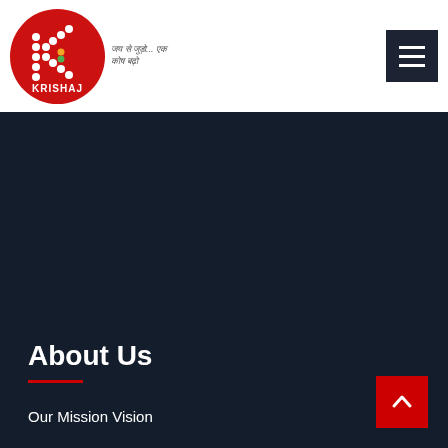[Figure (logo): Krishaj logo: red circle with white dot-pattern K and text KRISHAJ, with Hindi tagline below]
[Figure (other): Dark navy hamburger menu button icon with three white horizontal lines]
[Figure (other): Large dark navy background section filling most of the page]
About Us
Our Mission Vision
[Figure (other): Red scroll-to-top button with upward chevron arrow]